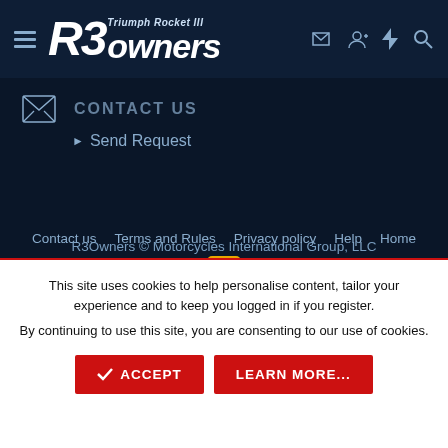R3Owners Triumph Rocket III owners
[Figure (screenshot): Website navigation header with hamburger menu, R3Owners Triumph Rocket III logo, and icons for login, user, flash, and search]
Contact Us
Send Request
R3Owners © Motorcycles International Group, LLC
Contact us   Terms and Rules   Privacy policy   Help   Home
This site uses cookies to help personalise content, tailor your experience and to keep you logged in if you register.
By continuing to use this site, you are consenting to our use of cookies.
ACCEPT   LEARN MORE...